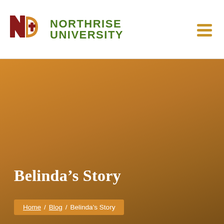[Figure (logo): Northrise University logo — stylized N and D shield icon in dark red and orange, with green text 'NORTHRISE UNIVERSITY']
Belinda’s Story
Home / Blog / Belinda’s Story